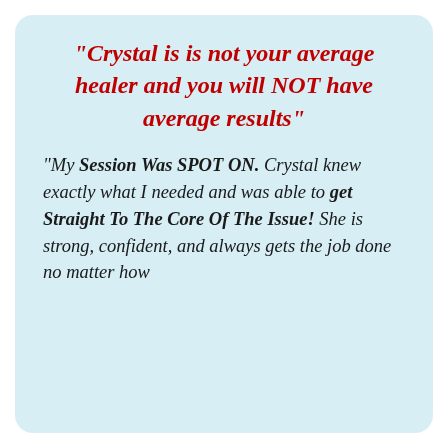“Crystal is is not your average healer and you will NOT have average results”
“My Session Was SPOT ON. Crystal knew exactly what I needed and was able to get Straight To The Core Of The Issue! She is strong, confident, and always gets the job done no matter how